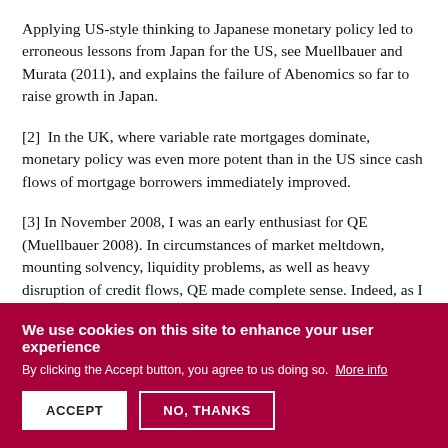Applying US-style thinking to Japanese monetary policy led to erroneous lessons from Japan for the US, see Muellbauer and Murata (2011), and explains the failure of Abenomics so far to raise growth in Japan.
[2]  In the UK, where variable rate mortgages dominate, monetary policy was even more potent than in the US since cash flows of mortgage borrowers immediately improved.
[3] In November 2008, I was an early enthusiast for QE (Muellbauer 2008). In circumstances of market meltdown, mounting solvency, liquidity problems, as well as heavy disruption of credit flows, QE made complete sense. Indeed, as I argued would be the case, its use proved
We use cookies on this site to enhance your user experience
By clicking the Accept button, you agree to us doing so. More info
ACCEPT
NO, THANKS